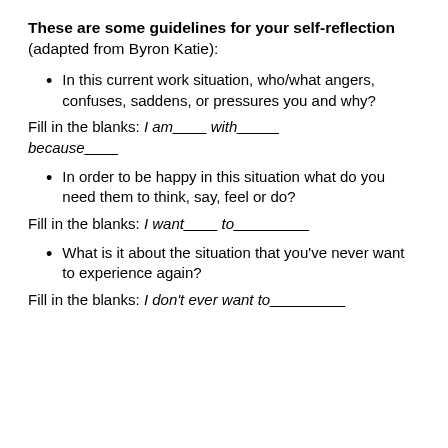These are some guidelines for your self-reflection (adapted from Byron Katie):
In this current work situation, who/what angers, confuses, saddens, or pressures you and why?
Fill in the blanks: I am ___ with _____ because____
In order to be happy in this situation what do you need them to think, say, feel or do?
Fill in the blanks: I want ____ to_________
What is it about the situation that you've never want to experience again?
Fill in the blanks: I don't ever want to _________